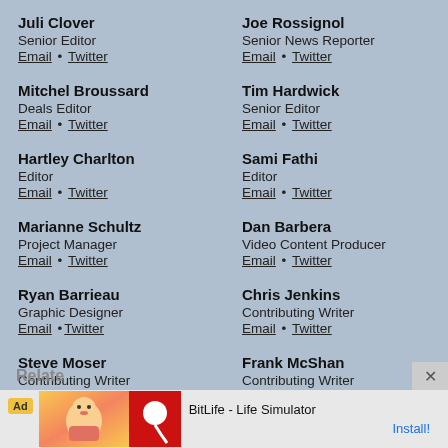Juli Clover
Senior Editor
Email • Twitter
Joe Rossignol
Senior News Reporter
Email • Twitter
Mitchel Broussard
Deals Editor
Email • Twitter
Tim Hardwick
Senior Editor
Email • Twitter
Hartley Charlton
Editor
Email • Twitter
Sami Fathi
Editor
Email • Twitter
Marianne Schultz
Project Manager
Email • Twitter
Dan Barbera
Video Content Producer
Email • Twitter
Ryan Barrieau
Graphic Designer
Email •Twitter
Chris Jenkins
Contributing Writer
Email • Twitter
Steve Moser
Contributing Writer
Email • Twitter
Frank McShan
Contributing Writer
Email • Twitter
[Figure (infographic): Advertisement banner: BitLife - Life Simulator app ad with cartoon character and Install button]